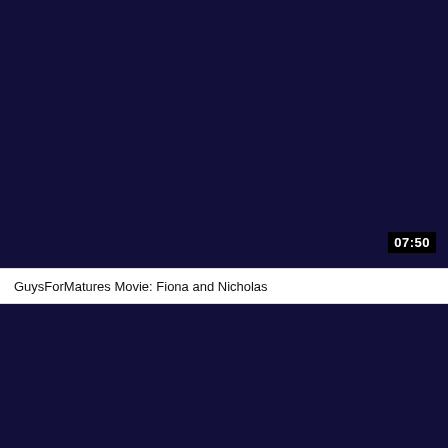[Figure (screenshot): Dark navy/indigo video thumbnail area showing a blank/dark frame from a video player. A timestamp overlay '07:50' appears in the bottom-right corner of the video frame in white text on a black background.]
GuysForMatures Movie: Fiona and Nicholas